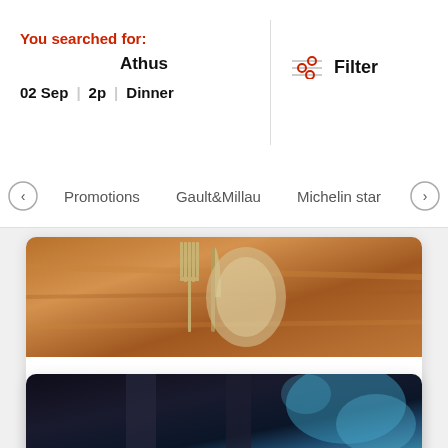You searched for:
Athus
02 Sep | 2p | Dinner
Filter
Promotions | Gault&Millau | Michelin star | Mo
[Figure (photo): Photo of cutlery (fork and knife) on a warm wooden table surface with sepia tones]
LE PALAIS DE CHINE
ATHUS
Chinese
[Figure (photo): Blurred dark restaurant interior with blue ambient lighting visible]